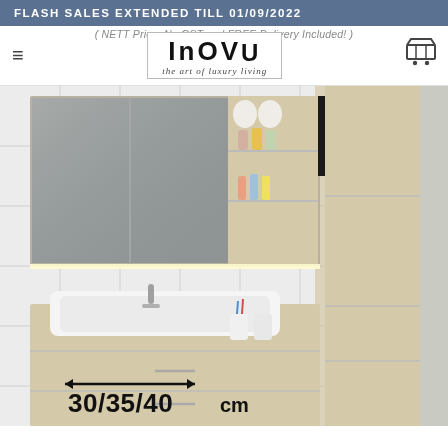FLASH SALES EXTENDED TILL 01/09/2022
( NETT Price, No GST and FREE Delivery Included! )
[Figure (logo): INOVO logo with tagline 'the art of luxury living' inside a rectangular border]
[Figure (photo): Bathroom vanity cabinet with mirror cabinet open showing shelves with toiletries, white sink with tap, wooden cabinet unit on the right, measurement annotation showing 30/35/40cm width]